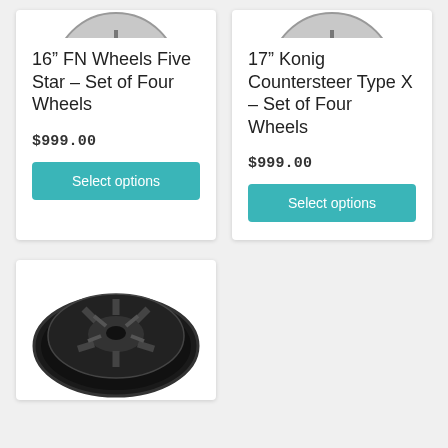[Figure (photo): Top portion of a silver wheel, cropped at top of card (left product)]
16” FN Wheels Five Star – Set of Four Wheels
$999.00
Select options
[Figure (photo): Top portion of a silver wheel, cropped at top of card (right product)]
17” Konig Countersteer Type X – Set of Four Wheels
$999.00
Select options
[Figure (photo): Black alloy wheel, full view, shown in bottom left card]